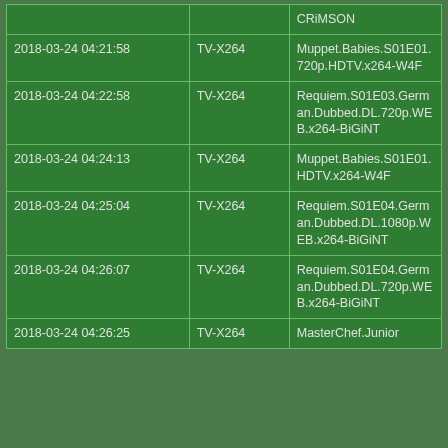|  |  | CRiMSON |
| 2018-03-24 04:21:58 | TV-X264 | Muppet.Babies.S01E01.720p.HDTV.x264-W4F |
| 2018-03-24 04:22:58 | TV-X264 | Requiem.S01E03.German.Dubbed.DL.720p.WEB.x264-BiGiNT |
| 2018-03-24 04:24:13 | TV-X264 | Muppet.Babies.S01E01.HDTV.x264-W4F |
| 2018-03-24 04:25:04 | TV-X264 | Requiem.S01E04.German.Dubbed.DL.1080p.WEB.x264-BiGiNT |
| 2018-03-24 04:26:07 | TV-X264 | Requiem.S01E04.German.Dubbed.DL.720p.WEB.x264-BiGiNT |
| 2018-03-24 04:26:25 | TV-X264 | MasterChef.Junior... |